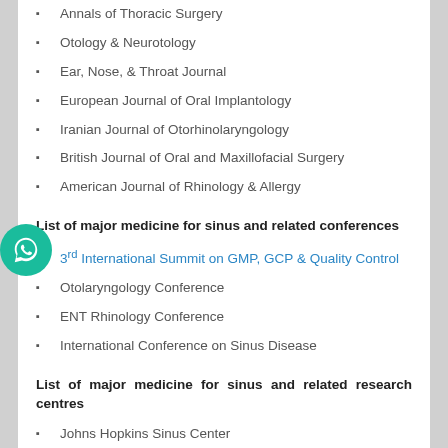Annals of Thoracic Surgery
Otology & Neurotology
Ear, Nose, & Throat Journal
European Journal of Oral Implantology
Iranian Journal of Otorhinolaryngology
British Journal of Oral and Maxillofacial Surgery
American Journal of Rhinology & Allergy
List of major medicine for sinus and related conferences
3rd International Summit on GMP, GCP & Quality Control
Otolaryngology Conference
ENT Rhinology Conference
International Conference on Sinus Disease
List of major medicine for sinus and related research centres
Johns Hopkins Sinus Center
UCSF Medical Center
Northwestern Sinus and Allergy Center